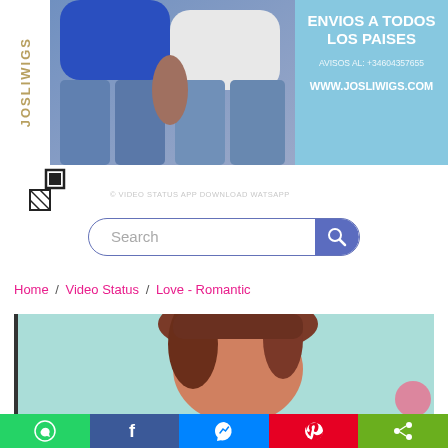[Figure (photo): Website screenshot showing a wigs advertisement banner with two women wearing jeans, text 'ENVIOS A TODOS LOS PAISES', phone number +34604357655, website www.josliwigs.com, QR code icon, search bar, breadcrumb navigation Home / Video Status / Love - Romantic, bottom image of a woman, and social share bar with WhatsApp, Facebook, Messenger, Pinterest, and share icons.]